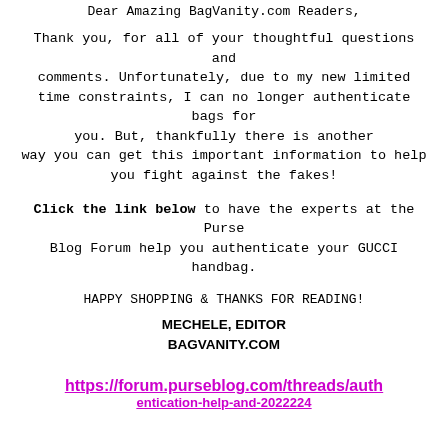Dear Amazing BagVanity.com Readers,
Thank you, for all of your thoughtful questions and comments. Unfortunately, due to my new limited time constraints, I can no longer authenticate bags for you. But, thankfully there is another way you can get this important information to help you fight against the fakes!
Click the link below to have the experts at the Purse Blog Forum help you authenticate your GUCCI handbag.
HAPPY SHOPPING & THANKS FOR READING!
MECHELE, EDITOR
BAGVANITY.COM
https://forum.purseblog.com/threads/auth